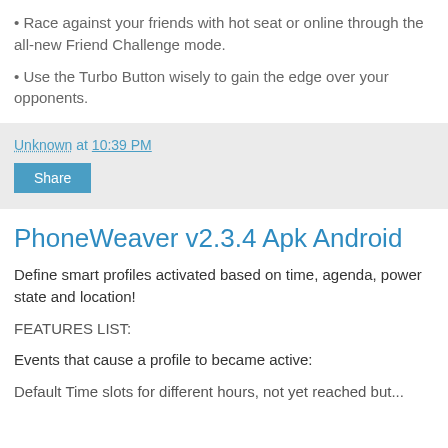• Race against your friends with hot seat or online through the all-new Friend Challenge mode.
• Use the Turbo Button wisely to gain the edge over your opponents.
Unknown at 10:39 PM
Share
PhoneWeaver v2.3.4 Apk Android
Define smart profiles activated based on time, agenda, power state and location!
FEATURES LIST:
Events that cause a profile to became active:
Default Time slots for different hours, not yet reached but...